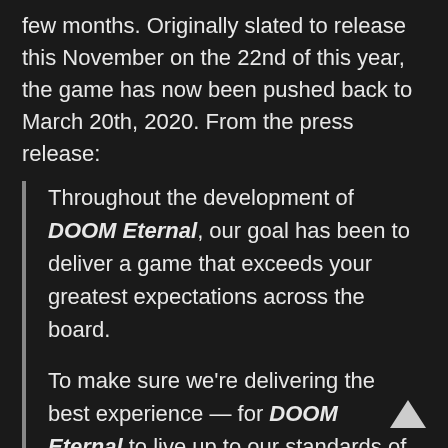few months. Originally slated to release this November on the 22nd of this year, the game has now been pushed back to March 20th, 2020. From the press release:
Throughout the development of DOOM Eternal, our goal has been to deliver a game that exceeds your greatest expectations across the board.
To make sure we're delivering the best experience — for DOOM Eternal to live up to our standards of speed and polish — we've made the decision to extend our launch date by a few months to March 20, 2020.  We know many fans will be disappointed by this